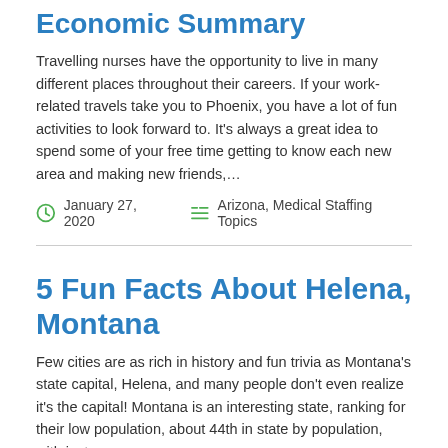Economic Summary
Travelling nurses have the opportunity to live in many different places throughout their careers. If your work-related travels take you to Phoenix, you have a lot of fun activities to look forward to. It's always a great idea to spend some of your free time getting to know each new area and making new friends,…
January 27, 2020   Arizona, Medical Staffing Topics
5 Fun Facts About Helena, Montana
Few cities are as rich in history and fun trivia as Montana's state capital, Helena, and many people don't even realize it's the capital! Montana is an interesting state, ranking for their low population, about 44th in state by population, with just...